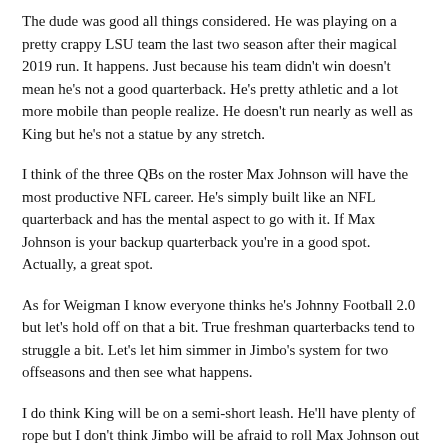The dude was good all things considered. He was playing on a pretty crappy LSU team the last two season after their magical 2019 run. It happens. Just because his team didn't win doesn't mean he's not a good quarterback. He's pretty athletic and a lot more mobile than people realize. He doesn't run nearly as well as King but he's not a statue by any stretch.
I think of the three QBs on the roster Max Johnson will have the most productive NFL career. He's simply built like an NFL quarterback and has the mental aspect to go with it. If Max Johnson is your backup quarterback you're in a good spot. Actually, a great spot.
As for Weigman I know everyone thinks he's Johnny Football 2.0 but let's hold off on that a bit. True freshman quarterbacks tend to struggle a bit. Let's let him simmer in Jimbo's system for two offseasons and then see what happens.
I do think King will be on a semi-short leash. He'll have plenty of rope but I don't think Jimbo will be afraid to roll Max Johnson out there if King just isn't getting it done. I hope it doesn't happen but I could see